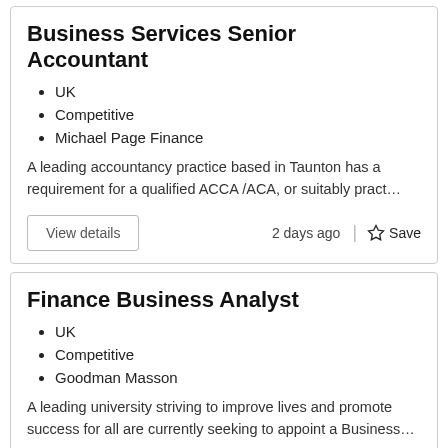Business Services Senior Accountant
UK
Competitive
Michael Page Finance
A leading accountancy practice based in Taunton has a requirement for a qualified ACCA /ACA, or suitably pract…
View details    2 days ago  |  ☆ Save
Finance Business Analyst
UK
Competitive
Goodman Masson
A leading university striving to improve lives and promote success for all are currently seeking to appoint a Business…